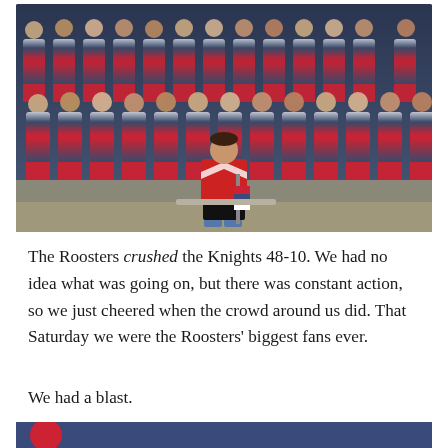[Figure (photo): A young boy in a red hockey jersey sits in front of a large banner/photo of the Sydney Roosters NRL rugby league team, who are posed in rows wearing navy blue and red uniforms. The boy holds a team scarf/flagpole.]
The Roosters crushed the Knights 48-10. We had no idea what was going on, but there was constant action, so we just cheered when the crowd around us did. That Saturday we were the Roosters' biggest fans ever.
We had a blast.
[Figure (photo): Partial view of another photo at the bottom of the page, showing red and blue colors suggesting another Roosters-related image.]